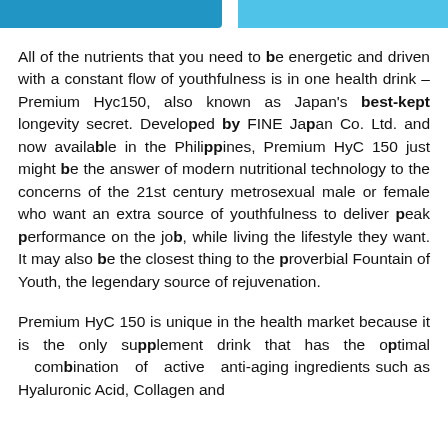All of the nutrients that you need to be energetic and driven with a constant flow of youthfulness is in one health drink – Premium Hyc150, also known as Japan's best-kept longevity secret. Developed by FINE Japan Co. Ltd. and now available in the Philippines, Premium HyC 150 just might be the answer of modern nutritional technology to the concerns of the 21st century metrosexual male or female who want an extra source of youthfulness to deliver peak performance on the job, while living the lifestyle they want. It may also be the closest thing to the proverbial Fountain of Youth, the legendary source of rejuvenation.
Premium HyC 150 is unique in the health market because it is the only supplement drink that has the optimal combination of active anti-aging ingredients such as Hyaluronic Acid, Collagen and